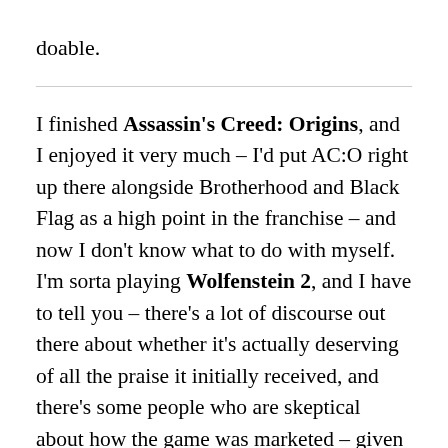doable.
I finished Assassin's Creed: Origins, and I enjoyed it very much – I'd put AC:O right up there alongside Brotherhood and Black Flag as a high point in the franchise – and now I don't know what to do with myself.  I'm sorta playing Wolfenstein 2, and I have to tell you – there's a lot of discourse out there about whether it's actually deserving of all the praise it initially received, and there's some people who are skeptical about how the game was marketed – given that punching Nazis is cool again – but I haven't really seen anybody talk about how batshit ridiculous the game can be.  I